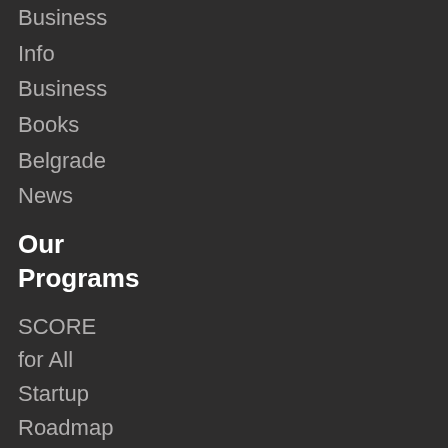Business
Info
Business
Books
Belgrade
News
Our Programs
SCORE
for All
Startup
Roadmap
Small
Business
Resilience